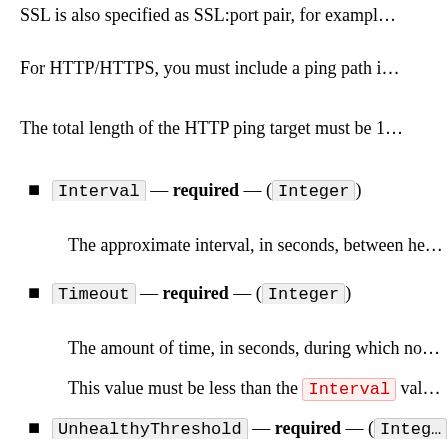SSL is also specified as SSL:port pair, for example...
For HTTP/HTTPS, you must include a ping path i...
The total length of the HTTP ping target must be 1...
Interval — required — (Integer)
The approximate interval, in seconds, between he...
Timeout — required — (Integer)
The amount of time, in seconds, during which no...
This value must be less than the Interval value...
UnhealthyThreshold — required — (Integer)
The number of consecutive health check failures r...
HealthyThreshold — required — (Integer)
The number of consecutive health checks succes...